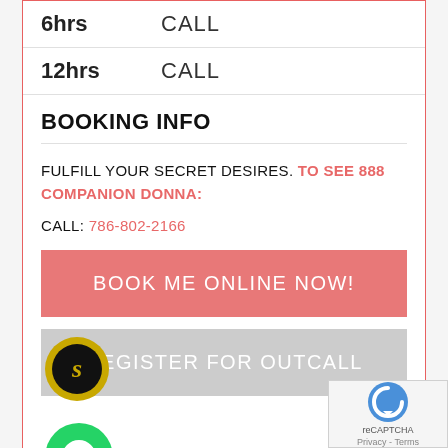| Duration | Price |
| --- | --- |
| 6hrs | CALL |
| 12hrs | CALL |
BOOKING INFO
FULFILL YOUR SECRET DESIRES. TO SEE 888 COMPANION DONNA:
CALL: 786-802-2166
BOOK ME ONLINE NOW!
REGISTER FOR OUTCALL
[Figure (logo): Seeking arrangement chat bubble logo with golden ring and black circle]
[Figure (logo): WhatsApp green circle phone icon]
[Figure (other): reCAPTCHA verification box with Privacy - Terms text]